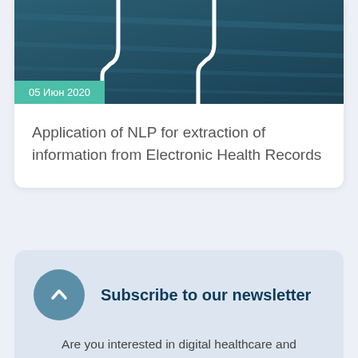[Figure (photo): Dark teal/blue textured background with white medical or dental tool shapes visible at the top, partially cropped]
05 Июн 2020
Application of NLP for extraction of information from Electronic Health Records
Subscribe to our newsletter
Are you interested in digital healthcare and